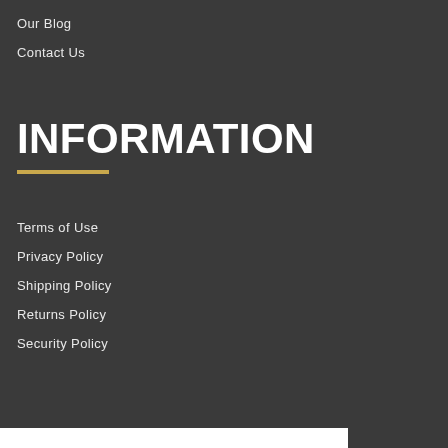Our Blog
Contact Us
INFORMATION
Terms of Use
Privacy Policy
Shipping Policy
Returns Policy
Security Policy